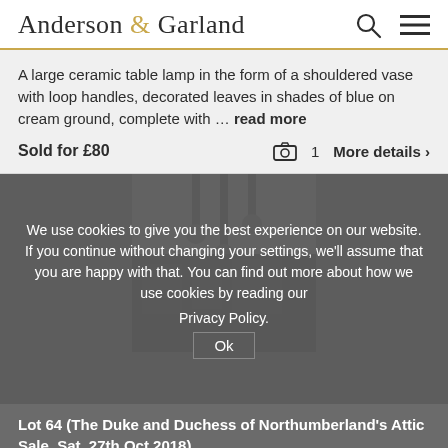Anderson & Garland
A large ceramic table lamp in the form of a shouldered vase with loop handles, decorated leaves in shades of blue on cream ground, complete with ... read more
Sold for £80   📷 1   More details >
[Figure (photo): Photo of auction room with pendant lights visible]
We use cookies to give you the best experience on our website. If you continue without changing your settings, we'll assume that you are happy with that. You can find out more about how we use cookies by reading our Privacy Policy.
Ok
Lot 64 (The Duke and Duchess of Northumberland's Attic Sale, Sat, 27th Oct 2018)
SOLD